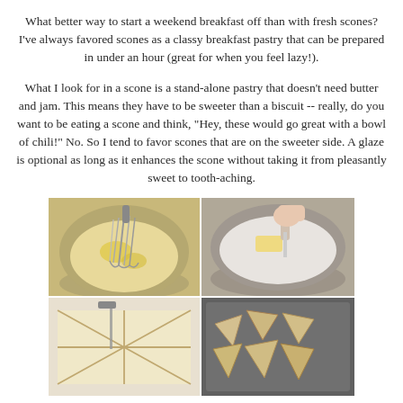What better way to start a weekend breakfast off than with fresh scones? I've always favored scones as a classy breakfast pastry that can be prepared in under an hour (great for when you feel lazy!).
What I look for in a scone is a stand-alone pastry that doesn't need butter and jam. This means they have to be sweeter than a biscuit -- really, do you want to be eating a scone and think, "Hey, these would go great with a bowl of chili!" No. So I tend to favor scones that are on the sweeter side. A glaze is optional as long as it enhances the scone without taking it from pleasantly sweet to tooth-aching.
[Figure (photo): Four-panel collage of scone preparation steps: top-left shows a whisk mixing wet ingredients in a bowl, top-right shows a knife or pastry cutter cutting butter into flour in a bowl, bottom-left shows scored/cut dough triangles on a surface, bottom-right shows separated triangular scone pieces on a baking sheet.]